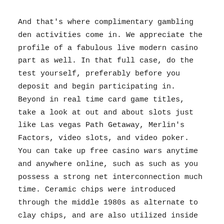And that's where complimentary gambling den activities come in. We appreciate the profile of a fabulous live modern casino part as well. In that full case, do the test yourself, preferably before you deposit and begin participating in. Beyond in real time card game titles, take a look at out and about slots just like Las vegas Path Getaway, Merlin's Factors, video slots, and video poker. You can take up free casino wars anytime and anywhere online, such as such as you possess a strong net interconnection much time. Ceramic chips were introduced through the middle 1980s as alternate to clay chips, and are also utilized inside casinos, as very well as being readily obtainable to the residential market.
The great thing about Casino Universe is that it is sociable – you can converse with other players truly, join parties, flow and compete in slots tournaments. Nice Slot machine games Internet casino is a brand-new US-friendly on-line casino from the workers who brought you BetOnline, Outdoors Internet casino, and